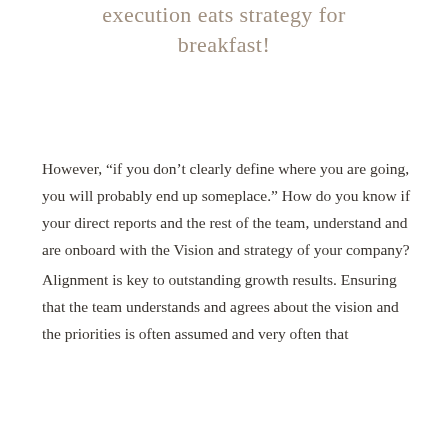execution eats strategy for breakfast!
However, “if you don’t clearly define where you are going, you will probably end up someplace.” How do you know if your direct reports and the rest of the team, understand and are onboard with the Vision and strategy of your company?
Alignment is key to outstanding growth results. Ensuring that the team understands and agrees about the vision and the priorities is often assumed and very often that